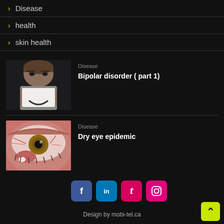> Disease
> health
> skin health
[Figure (photo): Woman holding a paper with a smiley face drawn on it, covering her mouth, dark background]
Disease
Bipolar disorder ( part 1)
[Figure (photo): Close-up of an irritated red eye with visible inflammation]
Disease
Dry eye epidemic
[Figure (other): Social media icons: Facebook, LinkedIn, Tumblr, Instagram]
Design by mobi-tel.ca